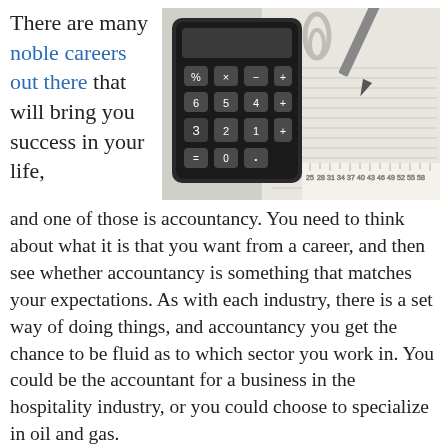There are many noble careers out there that will bring you success in your life, and one of those is accountancy. You need to think about what it is that you want from a career, and then see whether accountancy is something that matches your expectations. As with each industry, there is a set way of doing things, and accountancy you get the chance to be fluid as to which sector you work in. You could be the accountant for a business in the hospitality industry, or you could choose to specialize in oil and gas.
[Figure (photo): Close-up photo of a black calculator with a pen/pencil and financial spreadsheet/graph paper in the background, with a paper clip visible.]